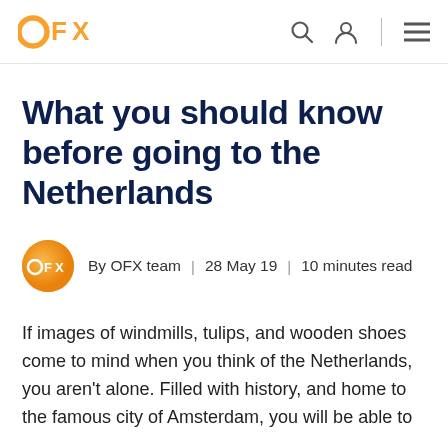OFX
What you should know before going to the Netherlands
By OFX team | 28 May 19 | 10 minutes read
If images of windmills, tulips, and wooden shoes come to mind when you think of the Netherlands, you aren't alone. Filled with history, and home to the famous city of Amsterdam, you will be able to